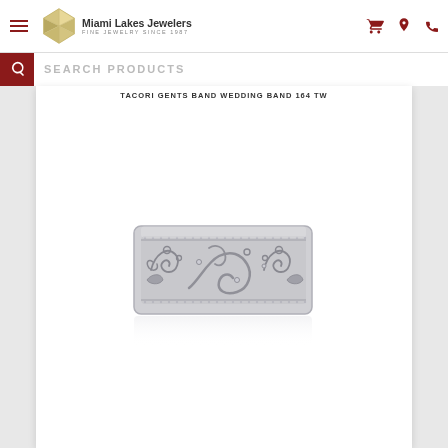Miami Lakes Jewelers Fine Jewelry Since 1987
SEARCH PRODUCTS
TACORI GENTS BAND WEDDING BAND 164 TW
[Figure (photo): A wide men's wedding band ring in white gold featuring an ornate scrollwork and floral engraving pattern across the center band, with milgrain edges, photographed flat against a white background with a subtle reflection below.]